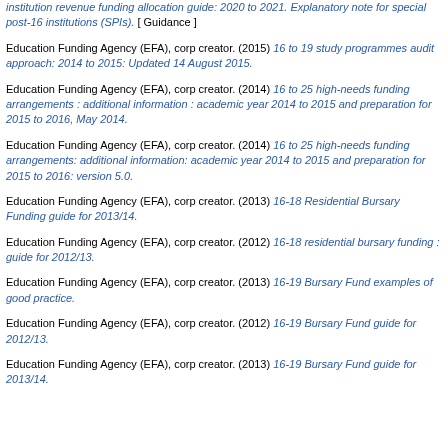institution revenue funding allocation guide: 2020 to 2021. Explanatory note for special post-16 institutions (SPIs). [ Guidance ]
Education Funding Agency (EFA), corp creator. (2015) 16 to 19 study programmes audit approach: 2014 to 2015: Updated 14 August 2015.
Education Funding Agency (EFA), corp creator. (2014) 16 to 25 high-needs funding arrangements : additional information : academic year 2014 to 2015 and preparation for 2015 to 2016, May 2014.
Education Funding Agency (EFA), corp creator. (2014) 16 to 25 high-needs funding arrangements: additional information: academic year 2014 to 2015 and preparation for 2015 to 2016: version 5.0.
Education Funding Agency (EFA), corp creator. (2013) 16-18 Residential Bursary Funding guide for 2013/14.
Education Funding Agency (EFA), corp creator. (2012) 16-18 residential bursary funding : guide for 2012/13.
Education Funding Agency (EFA), corp creator. (2013) 16-19 Bursary Fund examples of good practice.
Education Funding Agency (EFA), corp creator. (2012) 16-19 Bursary Fund guide for 2012/13.
Education Funding Agency (EFA), corp creator. (2013) 16-19 Bursary Fund guide for 2013/14.